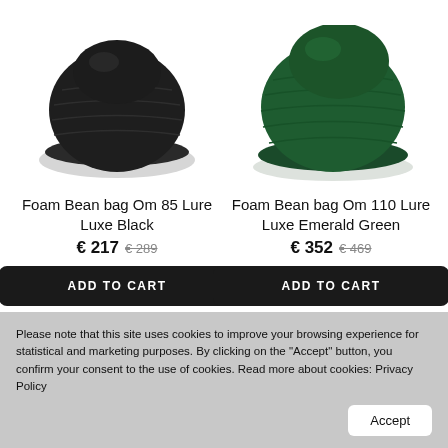[Figure (photo): Black foam bean bag chair - Foam Bean bag Om 85 Lure Luxe Black]
[Figure (photo): Emerald green foam bean bag chair - Foam Bean bag Om 110 Lure Luxe Emerald Green]
Foam Bean bag Om 85 Lure Luxe Black
€ 217 € 289
ADD TO CART
Foam Bean bag Om 110 Lure Luxe Emerald Green
€ 352 € 469
ADD TO CART
Please note that this site uses cookies to improve your browsing experience for statistical and marketing purposes. By clicking on the "Accept" button, you confirm your consent to the use of cookies. Read more about cookies: Privacy Policy